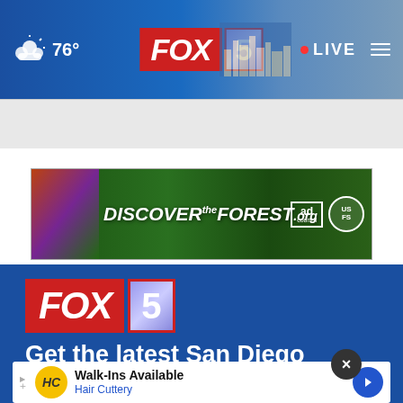FOX 5 | 76° | LIVE
[Figure (screenshot): FOX 5 website header with weather showing 76°, FOX 5 logo, LIVE button, and San Diego skyline background]
[Figure (screenshot): DiscovertheForest.org advertisement banner with forest imagery, Ad Council and US Forest Service logos]
[Figure (logo): FOX 5 logo in white/red on blue background]
Get the latest San Diego news, breaking news, weather, traffic, sports, and video from foxsandiego.com. Watch
[Figure (screenshot): Walk-Ins Available Hair Cuttery advertisement overlay with close (x) button]